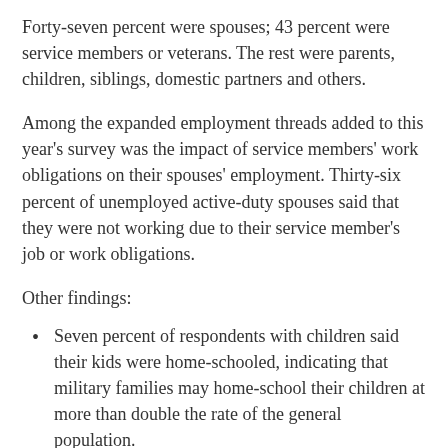Forty-seven percent were spouses; 43 percent were service members or veterans. The rest were parents, children, siblings, domestic partners and others.
Among the expanded employment threads added to this year's survey was the impact of service members' work obligations on their spouses' employment. Thirty-six percent of unemployed active-duty spouses said that they were not working due to their service member's job or work obligations.
Other findings:
Seven percent of respondents with children said their kids were home-schooled, indicating that military families may home-school their children at more than double the rate of the general population.
Seventy percent reported having an emergency fund. Of those, 27 percent have funds for fewer than three months of living expenses, while 18 percent have…